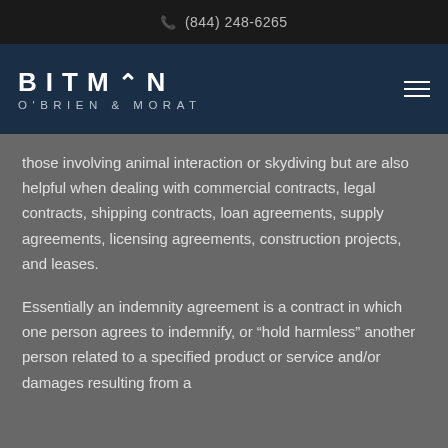(844) 248-6265
[Figure (logo): Bitman O'Brien & Morat law firm logo with hamburger menu icon]
those involving animal interaction or skydiving but are also helpful when dealing with commercial contracts, legal contracts, shipping contracts, loan agreements, supply agreements, licensing agreements, construction projects, and leases.
Essentially an indemnity agreement is a contract in which one person agrees to indemnify, or “hold harmless” another person related to a specified product or service and/or damages resulting from a